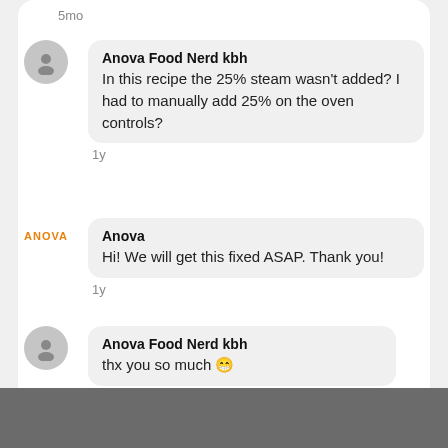5mo
Anova Food Nerd kbh
In this recipe the 25% steam wasn't added? I had to manually add 25% on the oven controls?
1y
Anova
Hi! We will get this fixed ASAP. Thank you!
1y
Anova Food Nerd kbh
thx you so much 😁
1y